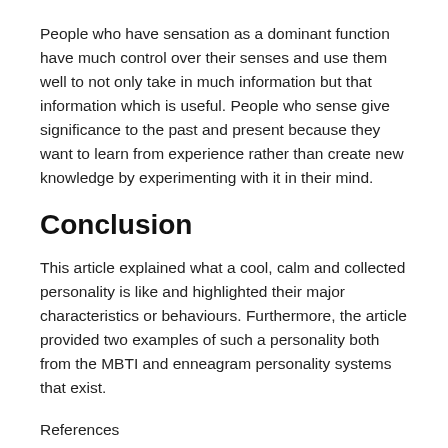People who have sensation as a dominant function have much control over their senses and use them well to not only take in much information but that information which is useful. People who sense give significance to the past and present because they want to learn from experience rather than create new knowledge by experimenting with it in their mind.
Conclusion
This article explained what a cool, calm and collected personality is like and highlighted their major characteristics or behaviours. Furthermore, the article provided two examples of such a personality both from the MBTI and enneagram personality systems that exist.
References
https://www.16personalities.com/isfj-